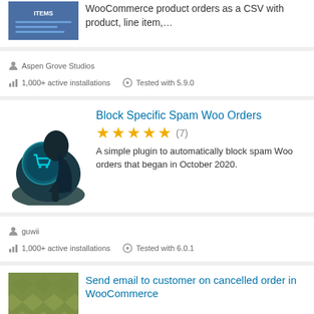[Figure (screenshot): Partial plugin card top showing a blue plugin icon/thumbnail and description text about WooCommerce product orders as a CSV with product, line item,...]
WooCommerce product orders as a CSV with product, line item,...
Aspen Grove Studios
1,000+ active installations
Tested with 5.9.0
Block Specific Spam Woo Orders
[Figure (illustration): Dark caped figure holding a shield with a shopping cart icon - representing blocking spam WooCommerce orders]
★★★★★ (7)
A simple plugin to automatically block spam Woo orders that began in October 2020.
guwii
1,000+ active installations
Tested with 6.0.1
Send email to customer on cancelled order in WooCommerce
[Figure (illustration): Green diamond pattern background image for the Send email plugin]